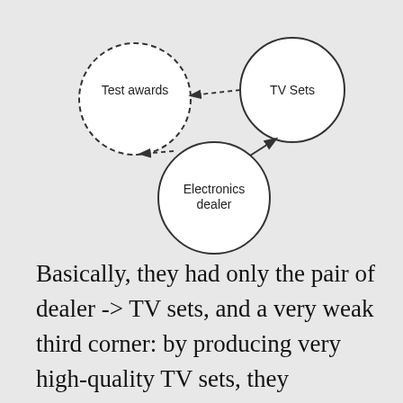[Figure (network-graph): A network diagram with three nodes: 'Test awards' (dashed circle, top-left), 'TV Sets' (solid circle, top-right), and 'Electronics dealer' (solid circle, bottom-center). Dashed arrows point from TV Sets to Test awards, and from Electronics dealer to Test awards. A solid arrow points from Electronics dealer to TV Sets.]
Basically, they had only the pair of dealer -> TV sets, and a very weak third corner: by producing very high-quality TV sets, they